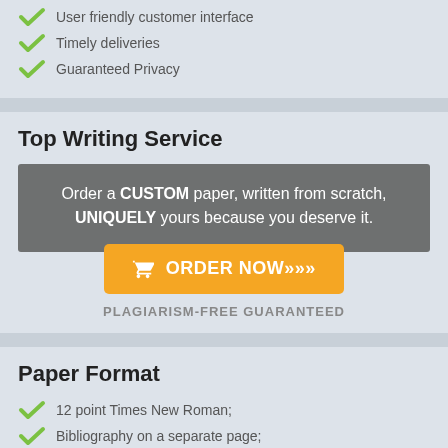User friendly customer interface
Timely deliveries
Guaranteed Privacy
Top Writing Service
Order a CUSTOM paper, written from scratch, UNIQUELY yours because you deserve it.
👍 ORDER NOW»»»
PLAGIARISM-FREE GUARANTEED
Paper Format
12 point Times New Roman;
Bibliography on a separate page;